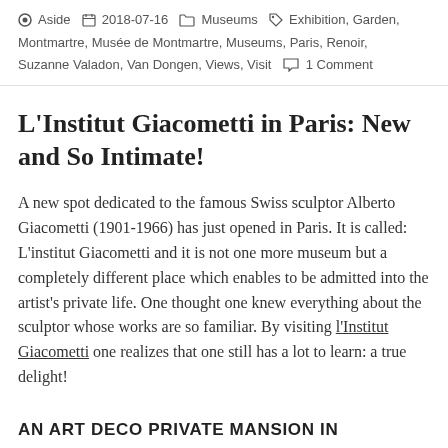Aside  2018-07-16  Museums  Exhibition, Garden, Montmartre, Musée de Montmartre, Museums, Paris, Renoir, Suzanne Valadon, Van Dongen, Views, Visit  1 Comment
L'Institut Giacometti in Paris: New and So Intimate!
A new spot dedicated to the famous Swiss sculptor Alberto Giacometti (1901-1966) has just opened in Paris. It is called: L'institut Giacometti and it is not one more museum but a completely different place which enables to be admitted into the artist's private life. One thought one knew everything about the sculptor whose works are so familiar. By visiting l'Institut Giacometti one realizes that one still has a lot to learn: a true delight!
AN ART DECO PRIVATE MANSION IN